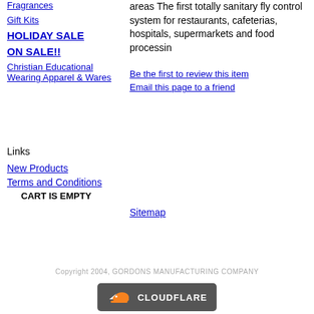Fragrances
Gift Kits
HOLIDAY SALE
ON SALE!!
Christian Educational Wearing Apparel & Wares
areas The first totally sanitary fly control system for restaurants, cafeterias, hospitals, supermarkets and food processin
Be the first to review this item
Email this page to a friend
Links
New Products
Terms and Conditions
CART IS EMPTY
Sitemap
Copyright 2004, GORDONS MANUFACTURING COMPANY
[Figure (logo): Cloudflare logo on dark grey background with orange cloud icon]